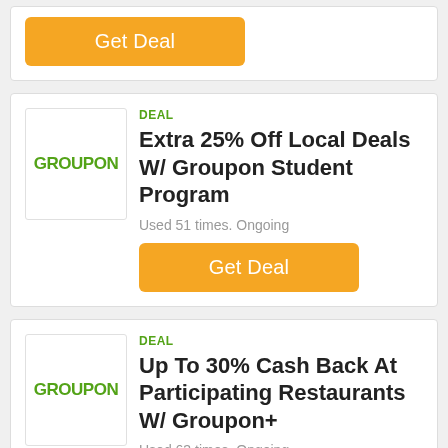[Figure (other): Get Deal orange button at top of page]
DEAL
[Figure (logo): Groupon logo]
Extra 25% Off Local Deals W/ Groupon Student Program
Used 51 times.  Ongoing
[Figure (other): Get Deal orange button]
DEAL
[Figure (logo): Groupon logo]
Up To 30% Cash Back At Participating Restaurants W/ Groupon+
Used 63 times.  Ongoing
[Figure (other): Get Deal orange button]